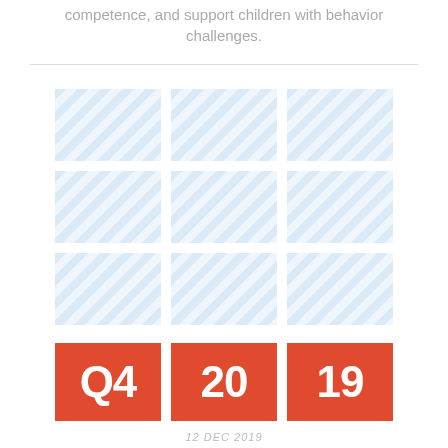competence, and support children with behavior challenges.
[Figure (infographic): 3x3 grid of light blue hatched placeholder image cells arranged in three rows, followed by a row of three red/orange boxes containing the text Q4, 20, and 19]
12 DEC 2019